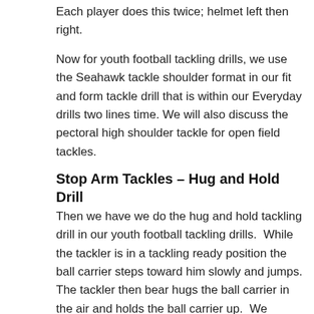Each player does this twice; helmet left then right.
Now for youth football tackling drills, we use the Seahawk tackle shoulder format in our fit and form tackle drill that is within our Everyday drills two lines time. We will also discuss the pectoral high shoulder tackle for open field tackles.
Stop Arm Tackles – Hug and Hold Drill
Then we have we do the hug and hold tackling drill in our youth football tackling drills.  While the tackler is in a tackling ready position the ball carrier steps toward him slowly and jumps. The tackler then bear hugs the ball carrier in the air and holds the ball carrier up.  We learned this helps teach the kids to wrap up because they need both